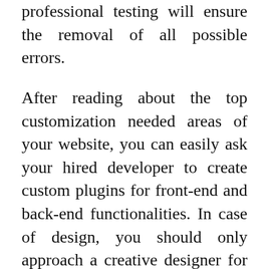professional testing will ensure the removal of all possible errors.
After reading about the top customization needed areas of your website, you can easily ask your hired developer to create custom plugins for front-end and back-end functionalities. In case of design, you should only approach a creative designer for creation of an interactive layout of your WP website. So to Enhance More Your WordPress With Customization it is necessary now and you